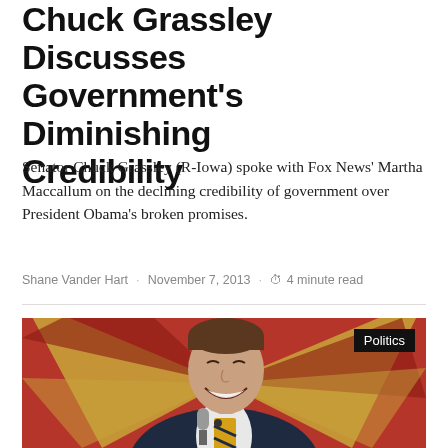Chuck Grassley Discusses Government's Diminishing Credibility
Senator Chuck Grassley (R-Iowa) spoke with Fox News' Martha Maccallum on the declining credibility of government over President Obama's broken promises.
Shane Vander Hart · November 7, 2013 · 4 minute read
[Figure (photo): A smiling man in a dark suit holding a microphone, standing in front of a red and gold background. A black 'Politics' tag appears in the upper right of the image.]